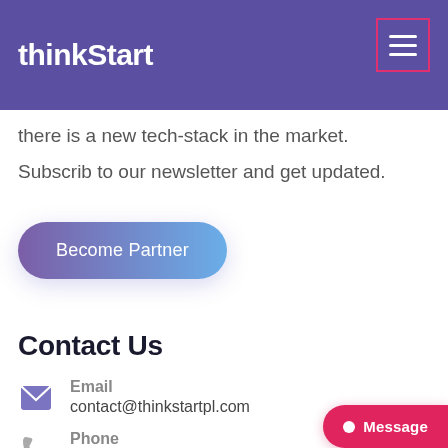thinkStart
changing, every other day there is a new tech-stack in the market. Subscrib to our newsletter and get updated.
Become Partner
Contact Us
Email
contact@thinkstartpl.com
Phone
+91-701-499-79819
Message